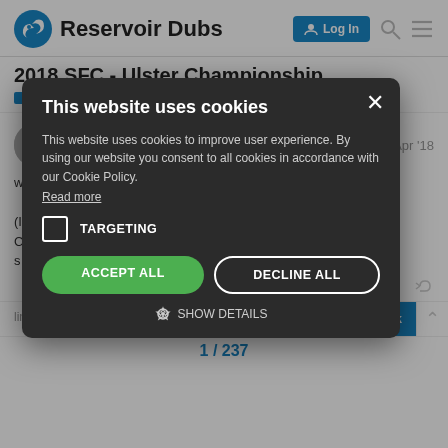Reservoir Dubs — Log In
2018 SFC - Ulster Championship
Gaelic Football   County Football
ProudDub  1  Apr '18
W... Kerry will win it. (I... an arses roar of s... ly.)
[Figure (screenshot): Cookie consent modal dialog with dark background. Title: 'This website uses cookies'. Body text: 'This website uses cookies to improve user experience. By using our website you consent to all cookies in accordance with our Cookie Policy. Read more'. Checkbox for TARGETING. Buttons: ACCEPT ALL (green), DECLINE ALL (outlined). SHOW DETAILS link at bottom.]
197
Back
links
1 / 237